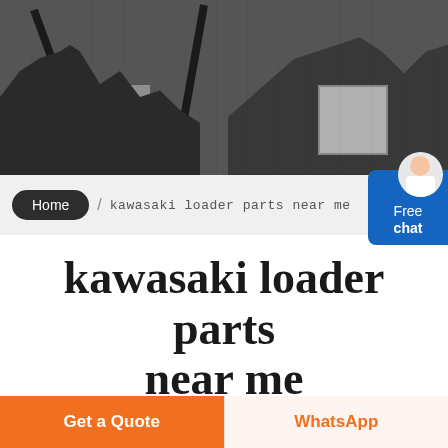[Figure (photo): Industrial machinery/quarry equipment photograph used as website hero banner]
Home / kawasaki loader parts near me
kawasaki loader parts near me
[Figure (photo): Orange kawasaki loader machine photographed inside an industrial facility]
Get a Quote
WhatsApp